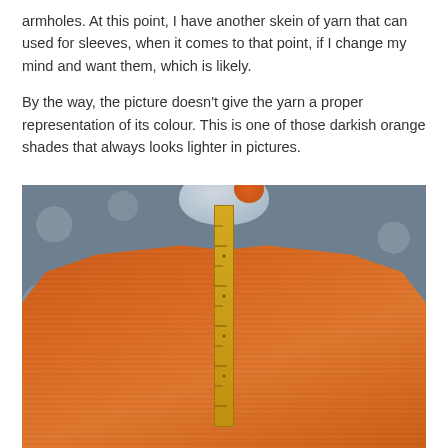armholes. At this point, I have another skein of yarn that can used for sleeves, when it comes to that point, if I change my mind and want them, which is likely.
By the way, the picture doesn't give the yarn a proper representation of its colour. This is one of those darkish orange shades that always looks lighter in pictures.
[Figure (photo): A piece of orange knitting laid flat on a grey patterned fabric surface, with a wooden ruler placed vertically in the center measuring it, and a bowl with an orange yarn skein visible at the top of the image.]